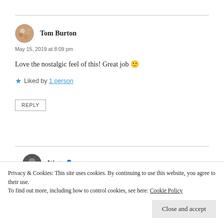Tom Burton
May 15, 2019 at 8:09 pm
Love the nostalgic feel of this! Great job 🙂
Liked by 1 person
REPLY
Watt
Privacy & Cookies: This site uses cookies. By continuing to use this website, you agree to their use. To find out more, including how to control cookies, see here: Cookie Policy
Close and accept